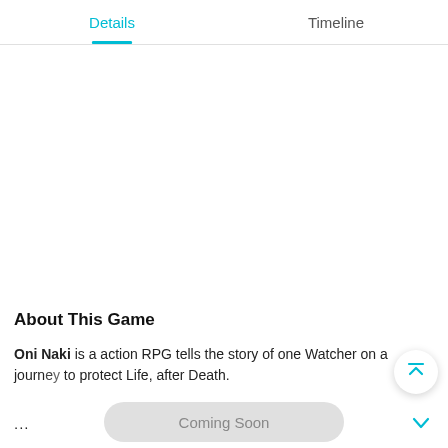Details | Timeline
About This Game
Oni Naki is a action RPG tells the story of one Watcher on a journey to protect Life, after Death.
...
Coming Soon